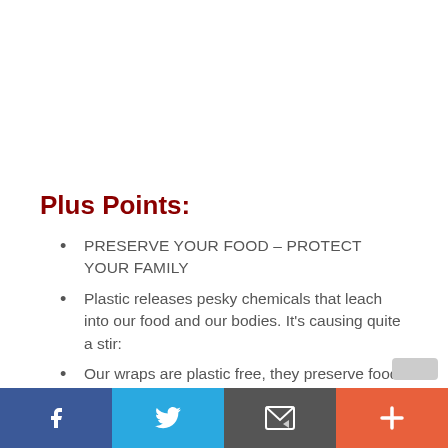Plus Points:
PRESERVE YOUR FOOD – PROTECT YOUR FAMILY
Plastic releases pesky chemicals that leach into our food and our bodies. It's causing quite a stir:
Our wraps are plastic free, they preserve food – naturally – with beeswax, coniferous tree resins and essential oils all infused in an organic cotton cloth.
Social sharing bar: Facebook, Twitter, Email, Plus